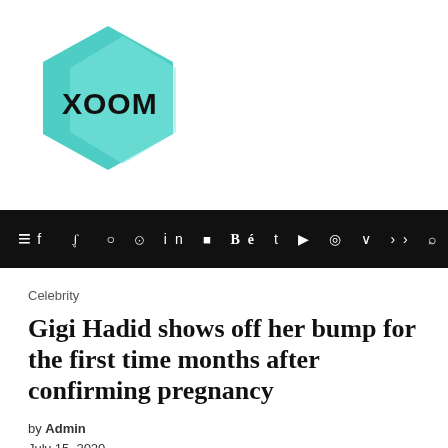[Figure (logo): XOOM logo: teal/mint hexagon shape with 'XOOM' text in bold black inside]
≡  f  y  ⊙  ⊕  in  ⬛  Bé  t  ▶  ◉  V  ≫  🔍
Celebrity
Gigi Hadid shows off her bump for the first time months after confirming pregnancy
by Admin
July 15, 2020
0 comment